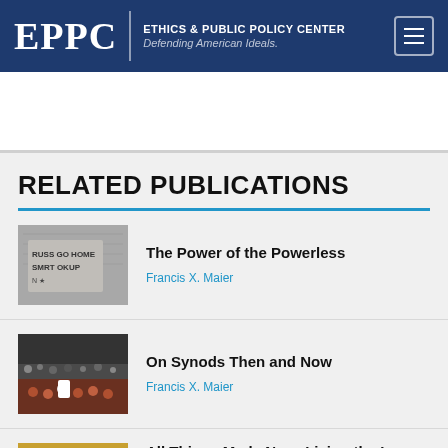EPPC | ETHICS & PUBLIC POLICY CENTER Defending American Ideals.
RELATED PUBLICATIONS
The Power of the Powerless — Francis X. Maier
On Synods Then and Now — Francis X. Maier
All Things Made New: Living the Lay Vocation